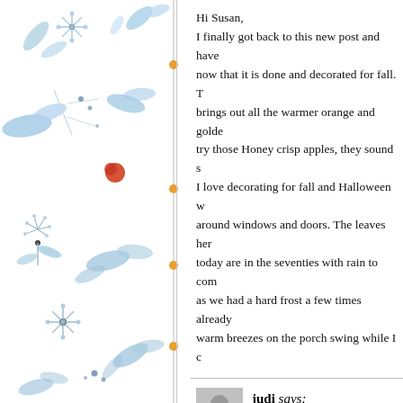[Figure (illustration): Decorative left panel with blue watercolor floral/botanical illustrations and orange dots on a vertical line]
Hi Susan,
I finally got back to this new post and have now that it is done and decorated for fall. T brings out all the warmer orange and golde try those Honey crisp apples, they sound s I love decorating for fall and Halloween w around windows and doors. The leaves her today are in the seventies with rain to com as we had a hard frost a few times already warm breezes on the porch swing while I c
judi says:
October 14, 2012 at 12:35 pm
I had checked the weather and it said …..i yesterday, chilly, but that is much better th say, I thought about you and your friends s my family. Pretty crazy. Hope Jaime will